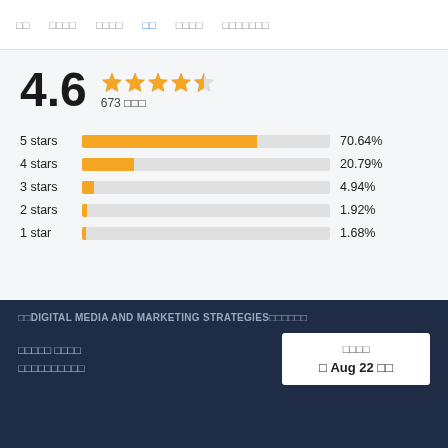□□  □□□□  □□□□  □□  □□□□  □□□□□□□
[Figure (bar-chart): Rating Distribution]
4.6 ★★★★½ 673 □□□
□□DIGITAL MEDIA AND MARKETING STRATEGIES□□□□□□
□□□□□ □□□□ □□□□□□□□□□
□□□□  □ Aug 22 □□